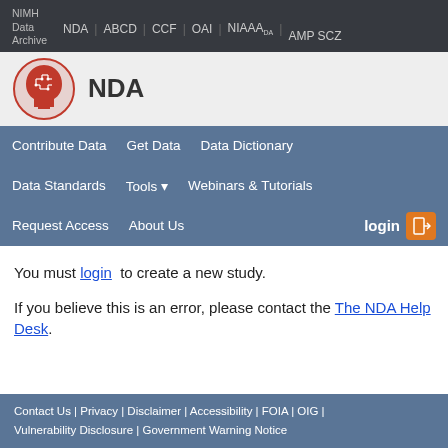NIMH Data Archive | NDA | ABCD | CCF | OAI | NIAAA_DA | AMP SCZ
[Figure (logo): NIMH NDA logo: red brain/circuit head silhouette with NDA text]
Contribute Data | Get Data | Data Dictionary | Data Standards | Tools | Webinars & Tutorials | Request Access | About Us | login
You must login to create a new study.
If you believe this is an error, please contact the The NDA Help Desk.
Contact Us | Privacy | Disclaimer | Accessibility | FOIA | OIG | Vulnerability Disclosure | Government Warning Notice